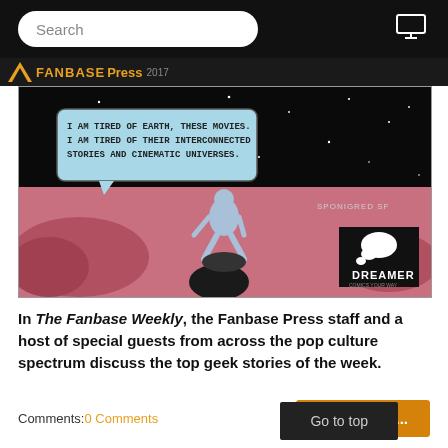Search
[Figure (illustration): Comic book style illustration: a blue humanoid figure sitting on a rock on a pink alien landscape under a black starry sky. A speech bubble reads: 'I AM TIRED OF EARTH, THESE MOVIES. I AM TIRED OF THEIR INTERCONNECTED STORIES AND CINEMATIC UNIVERSES.' A 'DREAMER' logo is in the bottom right corner. Text 'SPONIGRED SF' appears near the right side.]
In The Fanbase Weekly, the Fanbase Press staff and a host of special guests from across the pop culture spectrum discuss the top geek stories of the week.
Comments: 0 Comments
Read more...
Go to top